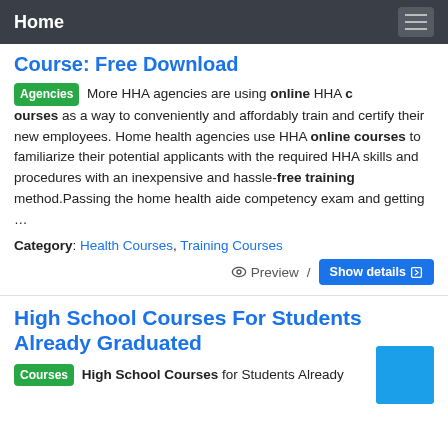Home
Course: Free Download
Agencies More HHA agencies are using online HHA courses as a way to conveniently and affordably train and certify their new employees. Home health agencies use HHA online courses to familiarize their potential applicants with the required HHA skills and procedures with an inexpensive and hassle-free training method.Passing the home health aide competency exam and getting …
Category: Health Courses, Training Courses
Preview / Show details
High School Courses For Students Already Graduated
Courses High School Courses for Students Already